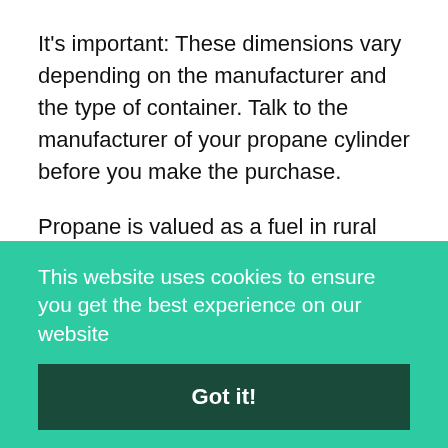It's important: These dimensions vary depending on the manufacturer and the type of container. Talk to the manufacturer of your propane cylinder before you make the purchase.
Propane is valued as a fuel in rural areas, but it is also gradually becoming an electricity option in developed cities with its economic advantages. In addition, propane heating has special properties that make it efficient compared to other heating
This website uses cookies to ensure you get the best experience on our website
Got it!